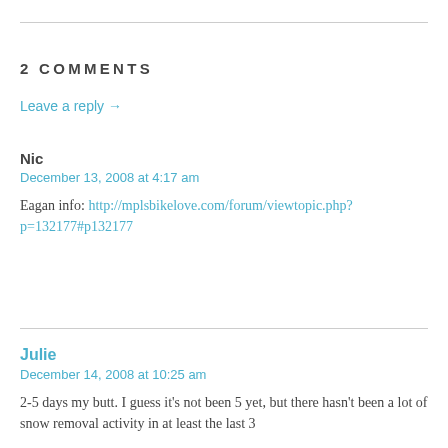2 COMMENTS
Leave a reply →
Nic
December 13, 2008 at 4:17 am
Eagan info: http://mplsbikelove.com/forum/viewtopic.php?p=132177#p132177
Julie
December 14, 2008 at 10:25 am
2-5 days my butt. I guess it's not been 5 yet, but there hasn't been a lot of snow removal activity in at least the last 3